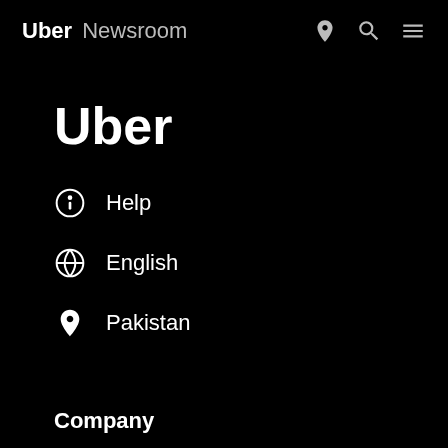Uber Newsroom
Uber
Help
English
Pakistan
Company